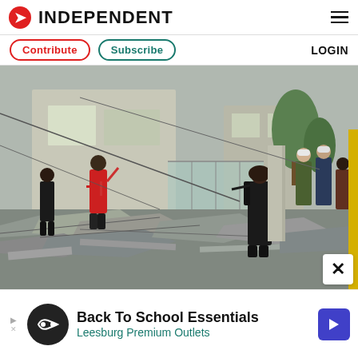INDEPENDENT
Contribute  Subscribe  LOGIN
[Figure (photo): People picking through rubble of a destroyed building. A woman in dark clothing walks across debris in the foreground. A person in a red jacket stands near a damaged wall on the left. Emergency responders with white helmets are visible on the right side. Trees and a partly standing structure are visible in the background.]
Back To School Essentials
Leesburg Premium Outlets